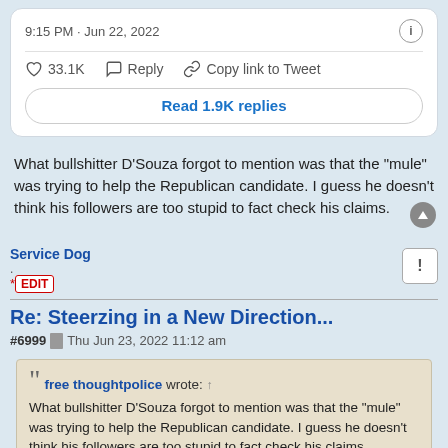9:15 PM · Jun 22, 2022
33.1K   Reply   Copy link to Tweet
Read 1.9K replies
What bullshitter D'Souza forgot to mention was that the "mule" was trying to help the Republican candidate. I guess he doesn't think his followers are too stupid to fact check his claims.
Service Dog
EDIT
Re: Steerzing in a New Direction...
#6999  Thu Jun 23, 2022 11:12 am
free thoughtpolice wrote: ↑
What bullshitter D'Souza forgot to mention was that the "mule" was trying to help the Republican candidate. I guess he doesn't think his followers are too stupid to fact check his claims.